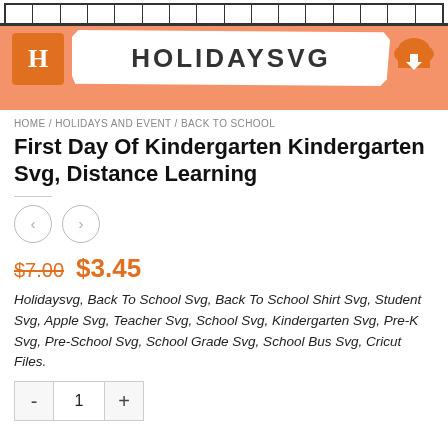[Figure (logo): HolidaySVG website banner with orange background, ruler at top, orange H logo on left, HOLIDAYSVG brand name in center on white brush stroke, cloud download icon on right]
HOME / HOLIDAYS AND EVENT / BACK TO SCHOOL
First Day Of Kindergarten Kindergarten Svg, Distance Learning
[Figure (other): Left and right navigation arrow buttons (circular outline style)]
$7.00  $3.45
Holidaysvg, Back To School Svg, Back To School Shirt Svg, Student Svg, Apple Svg, Teacher Svg, School Svg, Kindergarten Svg, Pre-K Svg, Pre-School Svg, School Grade Svg, School Bus Svg, Cricut Files.
- 1 +